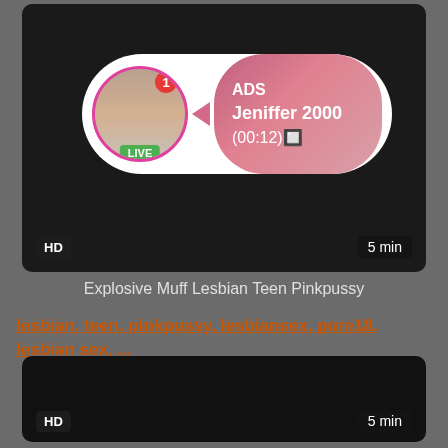[Figure (screenshot): Video thumbnail with ADS overlay banner showing profile picture with LIVE badge, username Jeniffer 2000, timestamp (00:12), HD badge and 5 min duration]
Explosive Muff Lesbian Teen Pinkpussy
lesbian, teen, pinkpussy, lesbiansex, pure18, lesbian sex, ...
[Figure (screenshot): Dark video thumbnail with HD badge bottom-left and 5 min duration badge bottom-right]